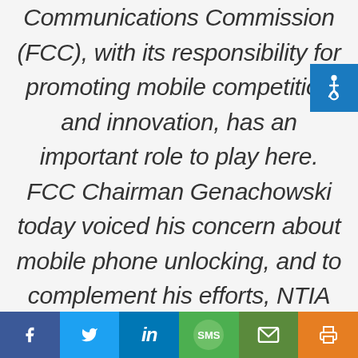Communications Commission (FCC), with its responsibility for promoting mobile competition and innovation, has an important role to play here. FCC Chairman Genachowski today voiced his concern about mobile phone unlocking, and to complement his efforts, NTIA will be formally engaging with the
[Figure (illustration): Accessibility icon - wheelchair symbol on blue background, top right corner]
[Figure (other): Social sharing bar with Facebook, Twitter, LinkedIn, SMS, Email, and Print buttons]